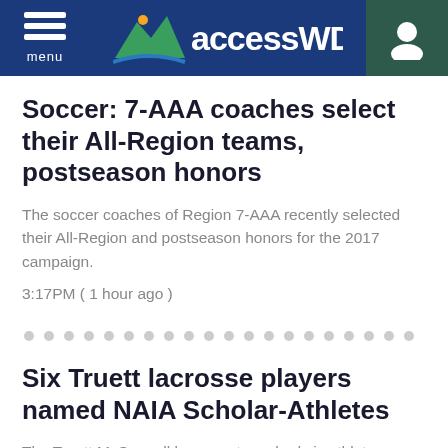accessWDUN
Soccer: 7-AAA coaches select their All-Region teams, postseason honors
The soccer coaches of Region 7-AAA recently selected their All-Region and postseason honors for the 2017 campaign.
3:17PM ( 1 hour ago )
Six Truett lacrosse players named NAIA Scholar-Athletes
The Truett McConnell lacrosse team had six athletes named Daktronics-NAIA Scholar-Athlete as